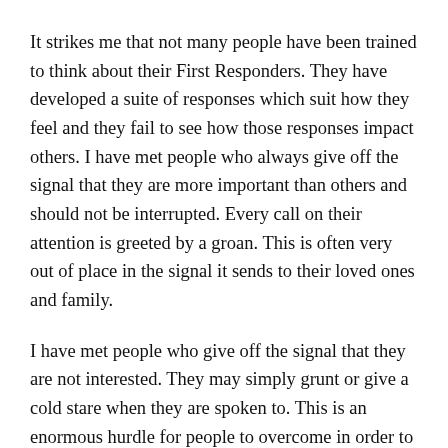It strikes me that not many people have been trained to think about their First Responders. They have developed a suite of responses which suit how they feel and they fail to see how those responses impact others. I have met people who always give off the signal that they are more important than others and should not be interrupted. Every call on their attention is greeted by a groan. This is often very out of place in the signal it sends to their loved ones and family.
I have met people who give off the signal that they are not interested. They may simply grunt or give a cold stare when they are spoken to. This is an enormous hurdle for people to overcome in order to respect them and build relationship with them.